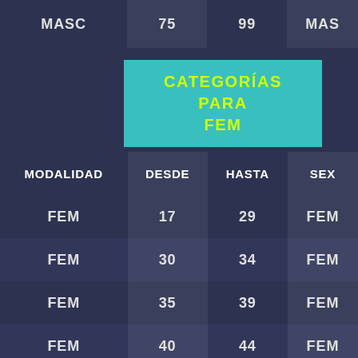| MODALIDAD | DESDE | HASTA | SEXO |
| --- | --- | --- | --- |
| MASC | 75 | 99 | MAS |
| FEM | 17 | 29 | FEM |
| FEM | 30 | 34 | FEM |
| FEM | 35 | 39 | FEM |
| FEM | 40 | 44 | FEM |
| FEM | 45 | 49 | FEM |
CATEGORÍAS PARA FEM